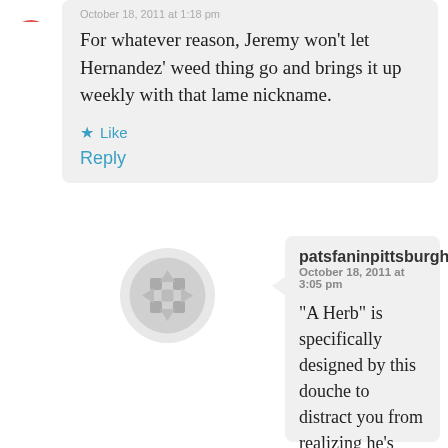October 18, 2011 at 1:18 pm
For whatever reason, Jeremy won't let Hernandez' weed thing go and brings it up weekly with that lame nickname.
Like
Reply
[Figure (illustration): User avatar icon partially visible at top left - red/orange circular avatar]
[Figure (illustration): User avatar for patsfaninpittsburgh - grey circular geometric pattern avatar]
patsfaninpittsburgh
October 18, 2011 at 3:05 pm
“A Herb” is specifically designed by this douche to distract you from realizing he’s clueless.